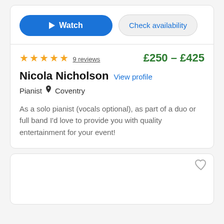Watch | Check availability
★★★★★ 9 reviews   £250 - £425
Nicola Nicholson  View profile
Pianist  📍 Coventry
As a solo pianist (vocals optional), as part of a duo or full band I'd love to provide you with quality entertainment for your event!